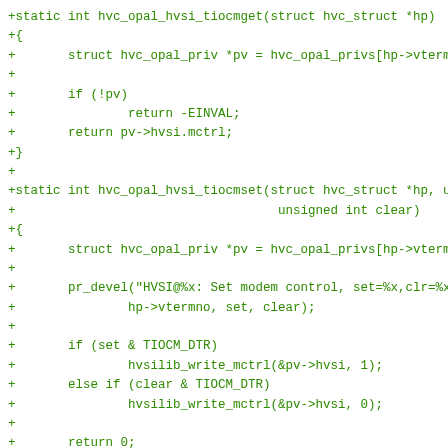[Figure (other): Source code diff showing two C functions: hvc_opal_hvsi_tiocmget and hvc_opal_hvsi_tiocmset, displayed in green monospace font on white background]